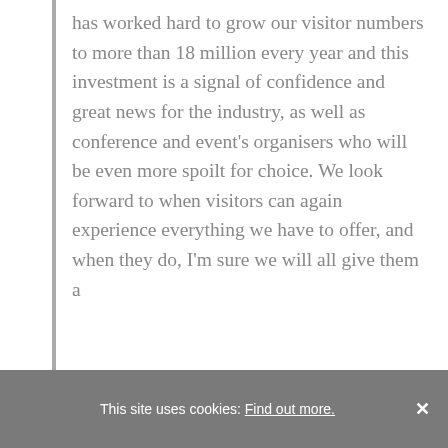has worked hard to grow our visitor numbers to more than 18 million every year and this investment is a signal of confidence and great news for the industry, as well as conference and event's organisers who will be even more spoilt for choice. We look forward to when visitors can again experience everything we have to offer, and when they do, I'm sure we will all give them a
This site uses cookies: Find out more. ×